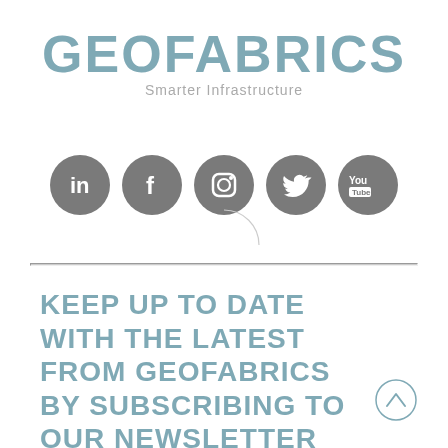[Figure (logo): GEOFABRICS logo with tagline 'Smarter Infrastructure' in teal/blue-grey color]
[Figure (infographic): Five dark grey circular social media icons: LinkedIn, Facebook, Instagram, Twitter, YouTube]
[Figure (illustration): Horizontal divider line with decorative arc/circle element in the center]
KEEP UP TO DATE WITH THE LATEST FROM GEOFABRICS BY SUBSCRIBING TO OUR NEWSLETTER
[Figure (illustration): Circular back-to-top arrow button on the right side]